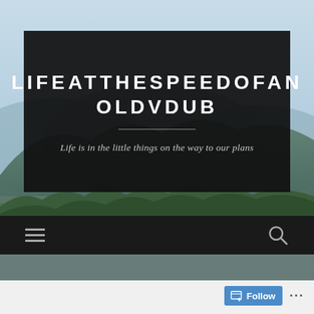[Figure (photo): Aerial/landscape photo of forested mountains with a light blue sky, green tree-covered hills stretching to the horizon]
LIFEATTHESPEEDOFAN OLDVDUB
Life is in the little things on the way to our plans
[Figure (screenshot): Dark navigation bar with hamburger menu icon on left and search (magnifying glass) icon on right]
[Figure (screenshot): WordPress Follow button with icon and '...' dots menu at bottom right of page]